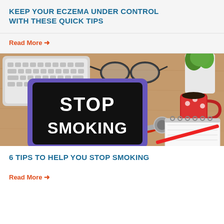KEEP YOUR ECZEMA UNDER CONTROL WITH THESE QUICK TIPS
Read More →
[Figure (photo): Medical desk scene with a purple-framed chalkboard sign reading STOP SMOKING in white bold text, a red stethoscope, keyboard, glasses, coffee mug, plant, and notepad on a wooden surface.]
6 TIPS TO HELP YOU STOP SMOKING
Read More →